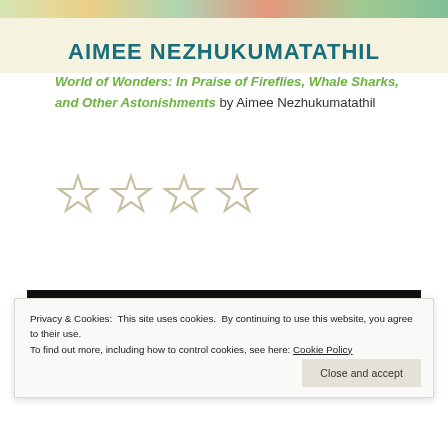[Figure (illustration): Top banner with floral/nature illustration and author name AIMEE NEZHUKUMATATHIL in teal/dark cyan bold uppercase text on a cream/light yellow background]
World of Wonders: In Praise of Fireflies, Whale Sharks, and Other Astonishments by Aimee Nezhukumatathil
[Figure (other): Four outlined star icons in a row, rendered in light beige/tan outline style, representing a rating widget]
[Figure (other): Black bar at the bottom of the main content area]
Privacy & Cookies: This site uses cookies. By continuing to use this website, you agree to their use.
To find out more, including how to control cookies, see here: Cookie Policy
Close and accept